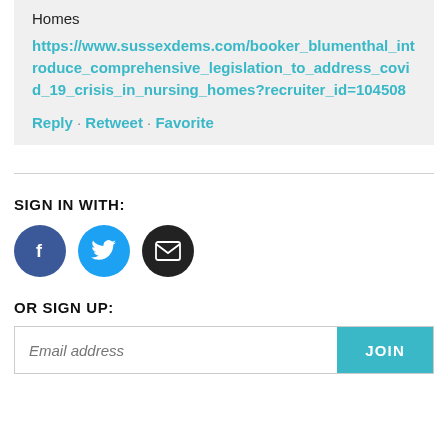Homes
https://www.sussexdems.com/booker_blumenthal_introduce_comprehensive_legislation_to_address_covid_19_crisis_in_nursing_homes?recruiter_id=104508
Reply · Retweet · Favorite
SIGN IN WITH:
[Figure (other): Three social sign-in buttons: Facebook (dark blue circle with f icon), Twitter (light blue circle with bird icon), Email (black circle with envelope icon)]
OR SIGN UP:
Email address JOIN